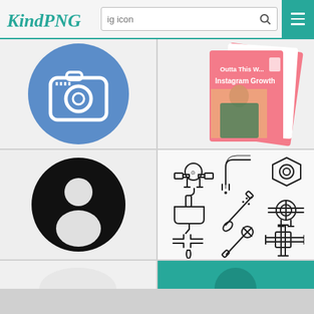KindPNG — ig icon search interface
[Figure (illustration): Blue circle with white Instagram camera icon]
[Figure (photo): Woman in front of pink Instagram Growth guide mockup pages]
[Figure (illustration): Black circle user/profile avatar silhouette icon on light gray background]
[Figure (illustration): Collection of 9 plumbing outline icons: pressure gauge pipe, bent pipe, hexagon nut, faucet sink, screwdriver/wrench tool, pipe fitting, broken pipe drop, wrench, pipe cross fitting]
[Figure (illustration): Partial bottom-left image, cut off]
[Figure (illustration): Partial bottom-right image showing teal/green circle, cut off]